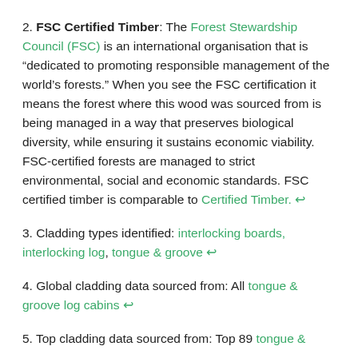2. FSC Certified Timber: The Forest Stewardship Council (FSC) is an international organisation that is “dedicated to promoting responsible management of the world’s forests.” When you see the FSC certification it means the forest where this wood was sourced from is being managed in a way that preserves biological diversity, while ensuring it sustains economic viability. FSC-certified forests are managed to strict environmental, social and economic standards. FSC certified timber is comparable to Certified Timber. ↩
3. Cladding types identified: interlocking boards, interlocking log, tongue & groove ↩
4. Global cladding data sourced from: All tongue & groove log cabins ↩
5. Top cladding data sourced from: Top 89 tongue & groove log cabins